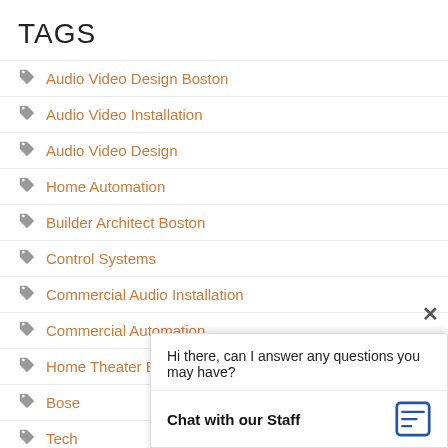TAGS
Audio Video Design Boston
Audio Video Installation
Audio Video Design
Home Automation
Builder Architect Boston
Control Systems
Commercial Audio Installation
Commercial Automation
Home Theater Boston
Bose
Tech
Audiophile
Light
Hi there, can I answer any questions you may have?
Chat with our Staff